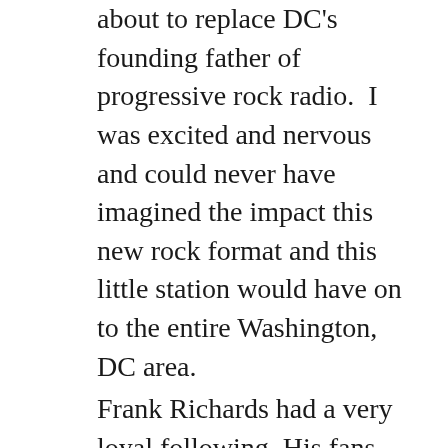about to replace DC's founding father of progressive rock radio.  I was excited and nervous and could never have imagined the impact this new rock format and this little station would have on to the entire Washington, DC area.
Frank Richards had a very loyal following. His fans were pissed that he was off the air and the phone calls to the station reflected it. Trying to make a positive first impression, the first show was 4 hours of  commercial free music, with the only interruptions for the station ID's. It was not a very warm welcoming reception for an opening night! But by the end of the first week we had them converted. Nationally, underground radio was only a year or two old.  Progressive rock music was